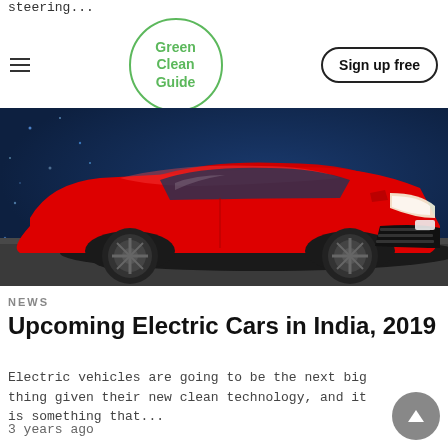steering...
[Figure (logo): Green Clean Guide circular logo with green border and green text]
Sign up free
[Figure (photo): Red Hyundai Kona Electric car displayed on exhibition floor with blue sparkling background]
NEWS
Upcoming Electric Cars in India, 2019
Electric vehicles are going to be the next big thing given their new clean technology, and it is something that...
3 years ago